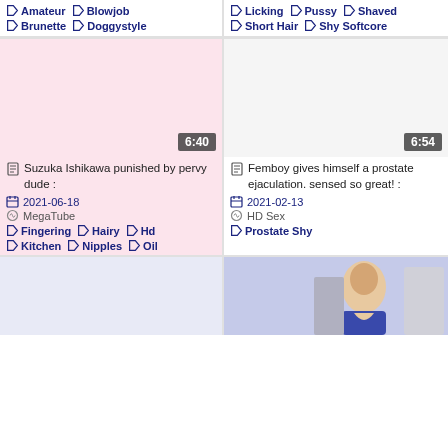Amateur Blowjob Brunette Doggystyle
Licking Pussy Shaved Short Hair Shy Softcore
[Figure (photo): Video thumbnail placeholder pink background, duration 6:40]
Suzuka Ishikawa punished by pervy dude :
2021-06-18
MegaTube
Fingering Hairy Hd Kitchen Nipples Oil
[Figure (photo): Video thumbnail placeholder white background, duration 6:54]
Femboy gives himself a prostate ejaculation. sensed so great! :
2021-02-13
HD Sex
Prostate Shy
[Figure (photo): Video thumbnail placeholder bottom left]
[Figure (photo): Photo of a young woman on a couch]